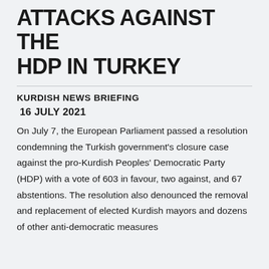ATTACKS AGAINST THE HDP IN TURKEY
KURDISH NEWS BRIEFING
16 JULY 2021
On July 7, the European Parliament passed a resolution condemning the Turkish government's closure case against the pro-Kurdish Peoples' Democratic Party (HDP) with a vote of 603 in favour, two against, and 67 abstentions. The resolution also denounced the removal and replacement of elected Kurdish mayors and dozens of other anti-democratic measures